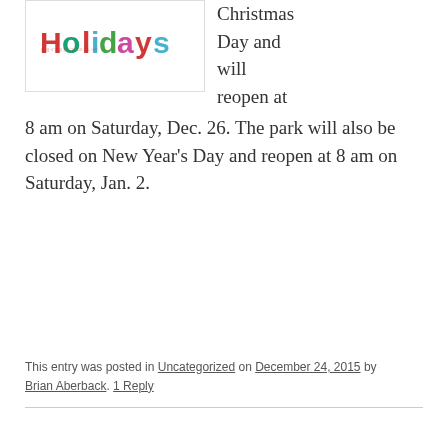[Figure (illustration): Colorful glittery 'Holidays' text logo on white background]
Christmas Day and will reopen at 8 am on Saturday, Dec. 26. The park will also be closed on New Year's Day and reopen at 8 am on Saturday, Jan. 2.
This entry was posted in Uncategorized on December 24, 2015 by Brian Aberback. 1 Reply